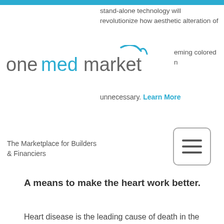stand-alone technology will revolutionize how aesthetic alteration of
[Figure (logo): onemedmarket logo with teal swoosh accent above the 't', gray and teal lettering]
eming colored n
unnecessary. Learn More
The Marketplace for Builders & Financiers
[Figure (other): Hamburger menu button — three horizontal lines in a rounded rectangle]
A means to make the heart work better.
Heart disease is the leading cause of death in the United States. With 400,000 to 700,000 new cases of heart failure every year in the U.S. alone. Fueling a revolution in the treatment of heart failure through a novel biological therapy. This company takes advantage of known cardiovascular processes to drive protein production and thus significantly improve cardiac performance. This differs from current